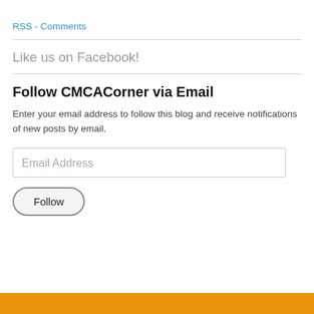RSS - Comments
Like us on Facebook!
Follow CMCACorner via Email
Enter your email address to follow this blog and receive notifications of new posts by email.
Email Address
Follow